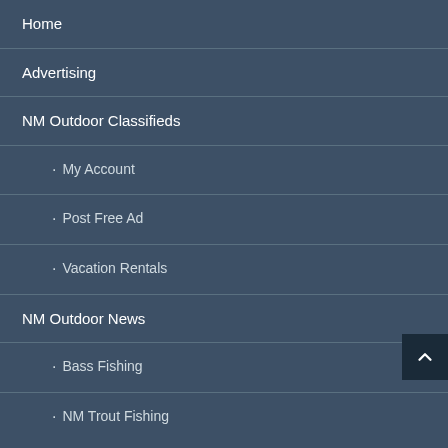Home
Advertising
NM Outdoor Classifieds
· My Account
· Post Free Ad
· Vacation Rentals
NM Outdoor News
· Bass Fishing
· NM Trout Fishing